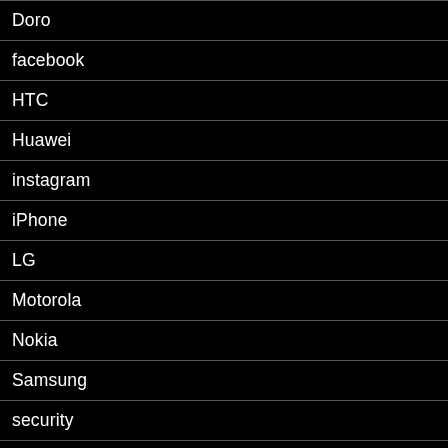Doro
facebook
HTC
Huawei
instagram
iPhone
LG
Motorola
Nokia
Samsung
security
Sony